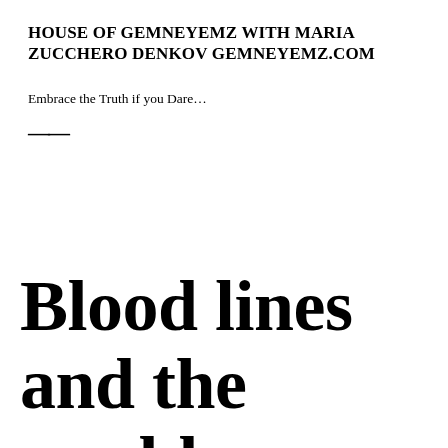HOUSE OF GEMNEYEMZ WITH MARIA ZUCCHERO DENKOV GEMNEYEMZ.COM
Embrace the Truth if you Dare…
≡
Blood lines and the world